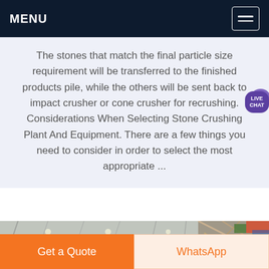MENU
The stones that match the final particle size requirement will be transferred to the finished products pile, while the others will be sent back to impact crusher or cone crusher for recrushing. Considerations When Selecting Stone Crushing Plant And Equipment. There are a few things you need to consider in order to select the most appropriate ...
[Figure (photo): Interior of an industrial warehouse or factory building with metal roof structure and scaffolding/machinery visible]
Get a Quote
WhatsApp